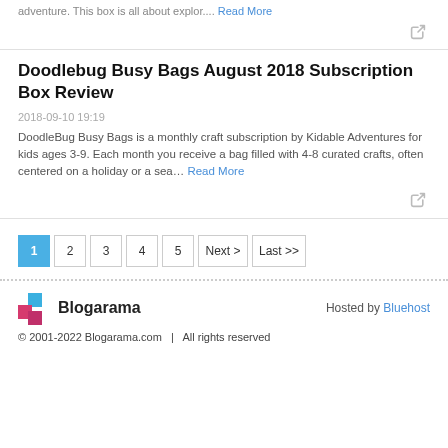adventure. This box is all about explor.... Read More
Doodlebug Busy Bags August 2018 Subscription Box Review
2018-09-10 19:19
DoodleBug Busy Bags is a monthly craft subscription by Kidable Adventures for kids ages 3-9. Each month you receive a bag filled with 4-8 curated crafts, often centered on a holiday or a sea… Read More
© 2001-2022 Blogarama.com  |  All rights reserved